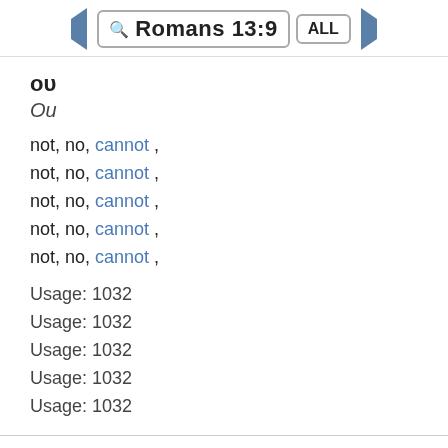Romans 13:9
ου
Ou
not, no, cannot ,
not, no, cannot ,
not, no, cannot ,
not, no, cannot ,
not, no, cannot ,
Usage: 1032
Usage: 1032
Usage: 1032
Usage: 1032
Usage: 1032
commit adultery
G3431